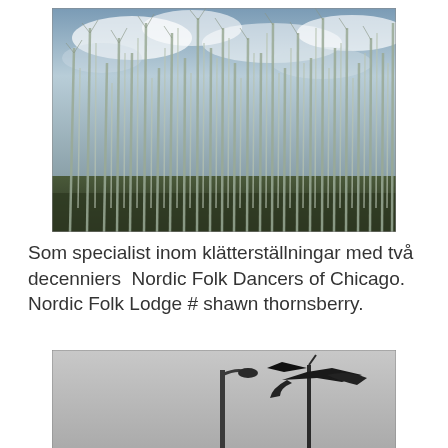[Figure (photo): A forest of tall, bare, dead or dying trees with thin white/grey trunks reaching up into a cloudy blue-grey sky. The ground is dark. The trees are densely packed.]
Som specialist inom klätterställningar med två decenniers  Nordic Folk Dancers of Chicago. Nordic Folk Lodge # shawn thornsberry.
[Figure (photo): A black and white photo showing a street lamp and a decorative weather vane or metal sculpture against a grey overcast sky.]